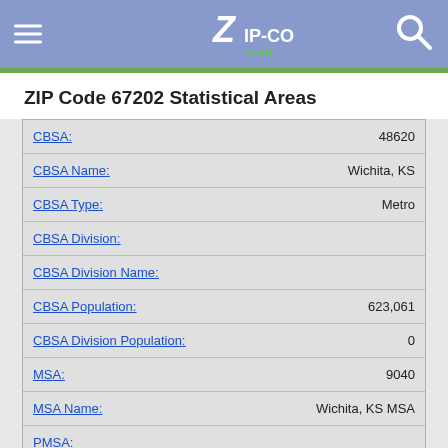ZIP-CODES.com
ZIP Code 67202 Statistical Areas
| Field | Value |
| --- | --- |
| CBSA: | 48620 |
| CBSA Name: | Wichita, KS |
| CBSA Type: | Metro |
| CBSA Division: |  |
| CBSA Division Name: |  |
| CBSA Population: | 623,061 |
| CBSA Division Population: | 0 |
| MSA: | 9040 |
| MSA Name: | Wichita, KS MSA |
| PMSA: |  |
| PMSA Name: |  |